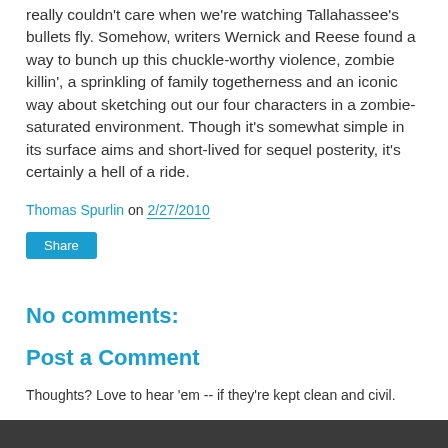really couldn't care when we're watching Tallahassee's bullets fly. Somehow, writers Wernick and Reese found a way to bunch up this chuckle-worthy violence, zombie killin', a sprinkling of family togetherness and an iconic way about sketching out our four characters in a zombie-saturated environment. Though it's somewhat simple in its surface aims and short-lived for sequel posterity, it's certainly a hell of a ride.
Thomas Spurlin on 2/27/2010
Share
No comments:
Post a Comment
Thoughts? Love to hear 'em -- if they're kept clean and civil.